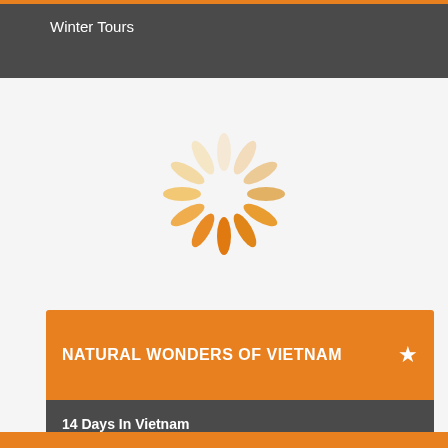Winter Tours
[Figure (illustration): Loading spinner animation — a circular arrangement of oval/leaf shapes in shades of orange, transitioning from dark orange at the bottom-left through light cream at the top, suggesting a spinning loader icon.]
NATURAL WONDERS OF VIETNAM
14 Days In Vietnam
Walking Tours • Spring Tours